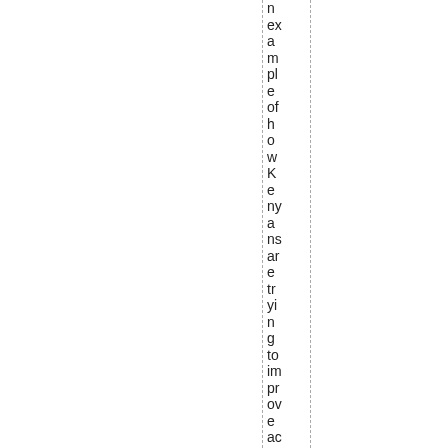n example of how Kenyans are trying to improve account